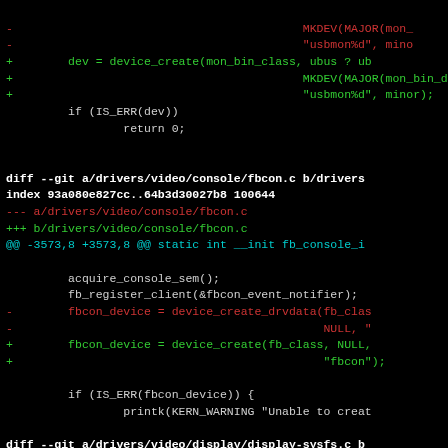[Figure (screenshot): A terminal/code diff view showing git patch output on a black background. Contains three diff sections for drivers/usb/mon/mon_bin.c, drivers/video/console/fbcon.c, and drivers/video/display/display-sysfs.c. Lines are colored: white for context, red for removed lines, green for added lines, cyan for diff headers.]